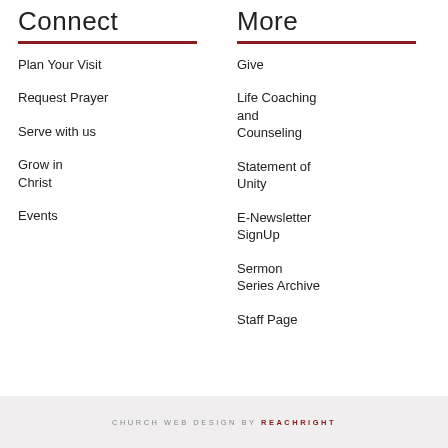Connect
More
Plan Your Visit
Give
Request Prayer
Life Coaching and Counseling
Serve with us
Statement of Unity
Grow in Christ
E-Newsletter SignUp
Events
Sermon Series Archive
Staff Page
CHURCH WEB DESIGN BY REACHRIGHT